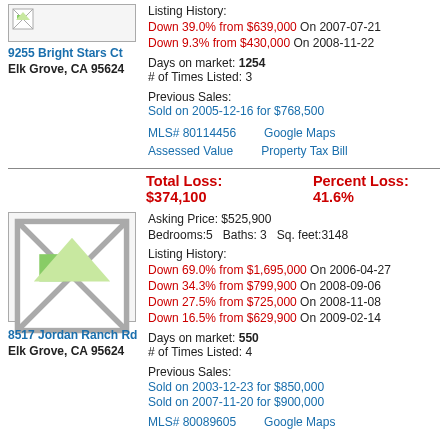[Figure (photo): Property photo placeholder for 9255 Bright Stars Ct]
9255 Bright Stars Ct
Elk Grove, CA 95624
Listing History:
Down 39.0% from $639,000 On 2007-07-21
Down 9.3% from $430,000 On 2008-11-22
Days on market: 1254
# of Times Listed: 3
Previous Sales:
Sold on 2005-12-16 for $768,500
MLS# 80114456    Google Maps
Assessed Value    Property Tax Bill
Total Loss: $374,100    Percent Loss: 41.6%
[Figure (photo): Property photo placeholder for 8517 Jordan Ranch Rd]
8517 Jordan Ranch Rd
Elk Grove, CA 95624
Asking Price: $525,900
Bedrooms:5    Baths: 3    Sq. feet:3148
Listing History:
Down 69.0% from $1,695,000 On 2006-04-27
Down 34.3% from $799,900 On 2008-09-06
Down 27.5% from $725,000 On 2008-11-08
Down 16.5% from $629,900 On 2009-02-14
Days on market: 550
# of Times Listed: 4
Previous Sales:
Sold on 2003-12-23 for $850,000
Sold on 2007-11-20 for $900,000
MLS# 80089605    Google Maps